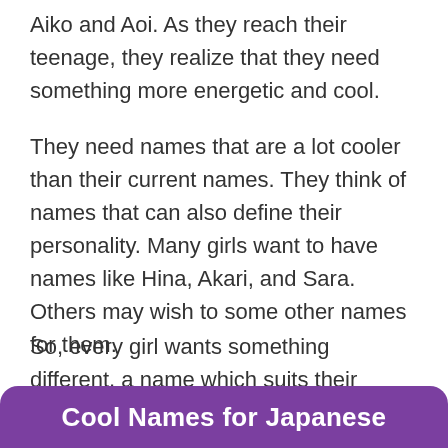Aiko and Aoi. As they reach their teenage, they realize that they need something more energetic and cool.
They need names that are a lot cooler than their current names. They think of names that can also define their personality. Many girls want to have names like Hina, Akari, and Sara. Others may wish to some other names for them.
So, every girl wants something different, a name which suits their personality as well.
Cool Names for Japanese